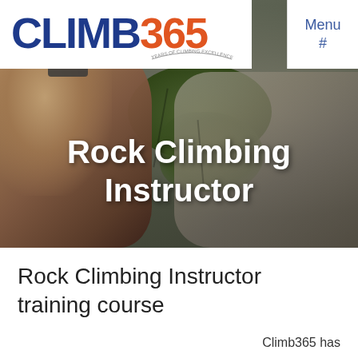[Figure (photo): Hero image of a person's hand gripping a rock face for rock climbing, with greenery visible in the background. CLIMB365 logo in white banner top-left, Menu # navigation top-right.]
Rock Climbing Instructor
Rock Climbing Instructor training course
Climb365 has